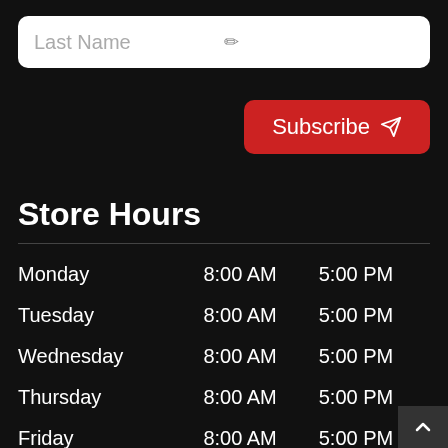Last Name
Subscribe
Store Hours
| Day | Open | Close |
| --- | --- | --- |
| Monday | 8:00 AM | 5:00 PM |
| Tuesday | 8:00 AM | 5:00 PM |
| Wednesday | 8:00 AM | 5:00 PM |
| Thursday | 8:00 AM | 5:00 PM |
| Friday | 8:00 AM | 5:00 PM |
| Saturday | 8:00 AM | 4:00 PM |
| Sunday | CLOSED | CLOSED |